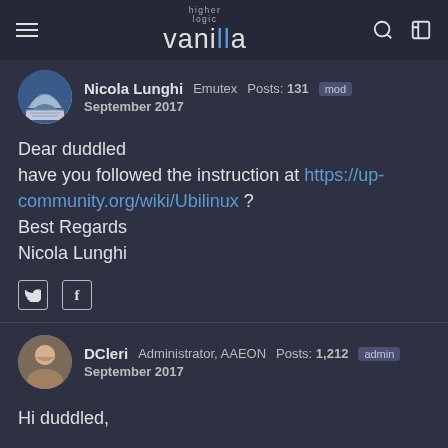higher logic vanilla
Nicola Lunghi  Emutex  Posts: 131  mod
September 2017
Dear duddled
have you followed the instruction at https://up-community.org/wiki/Ubilinux ?
Best Regards
Nicola Lunghi
[Figure (other): Social share icons: Twitter bird icon and Facebook f icon]
DCleri  Administrator, AAEON  Posts: 1,212  admin
September 2017
Hi duddled,

Can you try the steps provided by roarcor on this